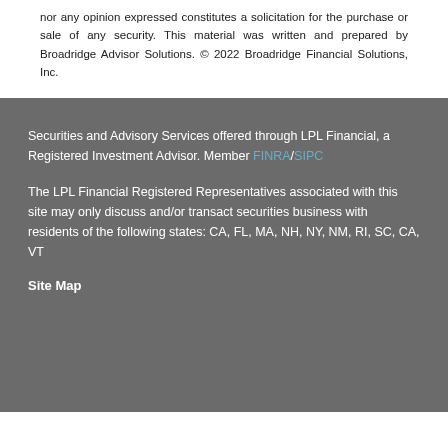nor any opinion expressed constitutes a solicitation for the purchase or sale of any security. This material was written and prepared by Broadridge Advisor Solutions. © 2022 Broadridge Financial Solutions, Inc.
Securities and Advisory Services offered through LPL Financial, a Registered Investment Advisor. Member FINRA/SIPC
The LPL Financial Registered Representatives associated with this site may only discuss and/or transact securities business with residents of the following states: CA, FL, MA, NH, NY, NM, RI, SC, CA, VT
Site Map